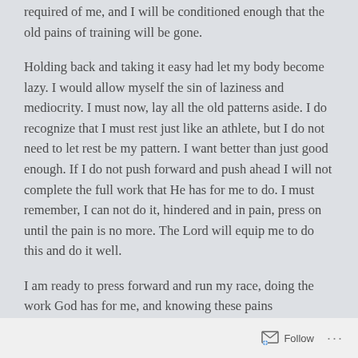required of me, and I will be conditioned enough that the old pains of training will be gone.
Holding back and taking it easy had let my body become lazy. I would allow myself the sin of laziness and mediocrity. I must now, lay all the old patterns aside. I do recognize that I must rest just like an athlete, but I do not need to let rest be my pattern. I want better than just good enough. If I do not push forward and push ahead I will not complete the full work that He has for me to do. I must remember, I can not do it, hindered and in pain, press on until the pain is no more. The Lord will equip me to do this and do it well.
I am ready to press forward and run my race, doing the work God has for me, and knowing these pains
Follow ···